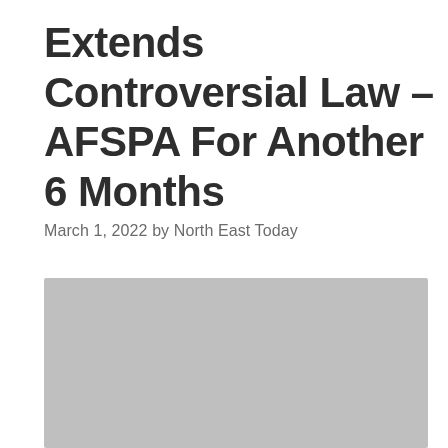Extends Controversial Law – AFSPA For Another 6 Months
March 1, 2022 by North East Today
[Figure (photo): A gray placeholder image rectangle below the article title and byline]